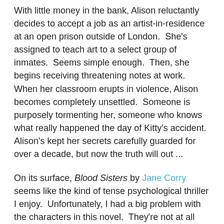With little money in the bank, Alison reluctantly decides to accept a job as an artist-in-residence at an open prison outside of London.  She's assigned to teach art to a select group of inmates.  Seems simple enough.  Then, she begins receiving threatening notes at work.  When her classroom erupts in violence, Alison becomes completely unsettled.  Someone is purposely tormenting her, someone who knows what really happened the day of Kitty's accident.  Alison's kept her secrets carefully guarded for over a decade, but now the truth will out ...
On its surface, Blood Sisters by Jane Corry seems like the kind of tense psychological thriller I enjoy.  Unfortunately, I had a big problem with the characters in this novel.  They're not at all likable.  Alison is cold, immature, and melodramatic, all of which made it difficult to feel connected to her.  The only cast member I felt anything for was Alison's poor mum.  Corry's prose is awkward as well.  As far as plot goes, Blood Sisters kept my attention, although I saw some of the twists coming.  Many of the situations seem contrived and the Big Reveals at the end drove me crazy, justifying my dislike and distrust of a certain character even more.  Not surprisingly,